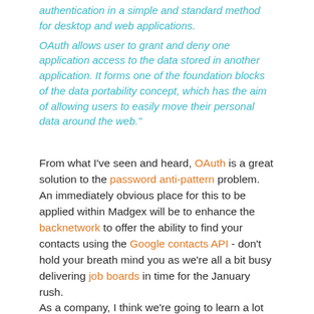authentication in a simple and standard method for desktop and web applications. OAuth allows user to grant and deny one application access to the data stored in another application. It forms one of the foundation blocks of the data portability concept, which has the aim of allowing users to easily move their personal data around the web."
From what I've seen and heard, OAuth is a great solution to the password anti-pattern problem. An immediately obvious place for this to be applied within Madgex will be to enhance the backnetwork to offer the ability to find your contacts using the Google contacts API - don't hold your breath mind you as we're all a bit busy delivering job boards in time for the January rush. As a company, I think we're going to learn a lot through opening this code out to the community and I'm really, really excited about it. Bruce will be doing a talk about